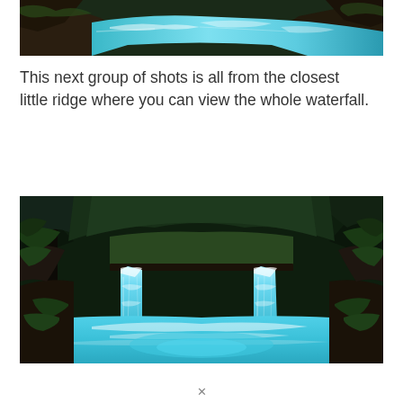[Figure (photo): Aerial/close-up view of a turquoise blue river flowing through rocky terrain with lush green vegetation, shot from above]
This next group of shots is all from the closest little ridge where you can view the whole waterfall.
[Figure (photo): Wide shot of a waterfall in a lush green forest. Twin waterfalls cascade into a turquoise blue pool, surrounded by dense green foliage and rocky walls.]